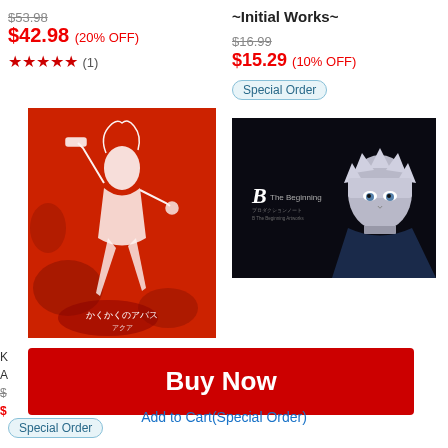$53.98 (strikethrough)
$42.98 (20% OFF)
★★★★★ (1)
[Figure (illustration): Anime art book cover with red and white coloring showing a female character with a gun]
~Initial Works~
$16.99 (strikethrough)
$15.29 (10% OFF)
Special Order button
[Figure (illustration): Dark anime artwork showing a white-haired male character with 'B The Beginning' text]
Buy Now
Add to Cart(Special Order)
Special Order